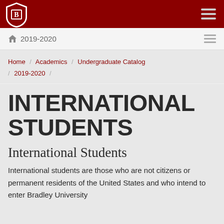[Figure (logo): Bradley University shield logo in white on dark red background, top left]
2019-2020
Home / Academics / Undergraduate Catalog / 2019-2020 /
INTERNATIONAL STUDENTS
International Students
International students are those who are not citizens or permanent residents of the United States and who intend to enter Bradley University